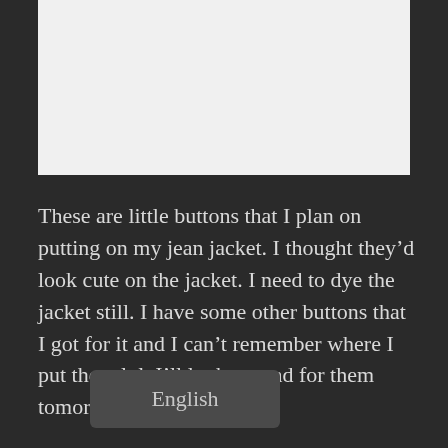[Figure (photo): White/light colored image area at top of page]
These are little buttons that I plan on putting on my jean jacket. I thought they’d look cute on the jacket. I need to dye the jacket still. I have some other buttons that I got for it and I can’t remember where I put them lol. I’ll look around for them tomorrow.
English